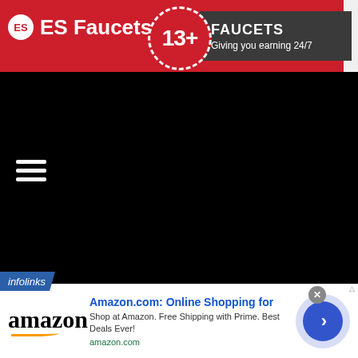ES Faucets — 13+ FAUCETS Giving you earning 24/7
[Figure (screenshot): Black content area with hamburger menu icon (three white horizontal lines) in the top-left of the dark section]
[Figure (screenshot): infolinks ad banner: Amazon.com Online Shopping for — Shop at Amazon. Free Shipping with Prime. Best Deals Ever! amazon.com — with Amazon logo on left and blue arrow button on right]